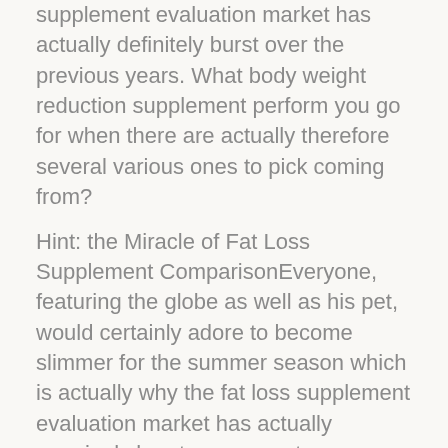supplement evaluation market has actually definitely burst over the previous years. What body weight reduction supplement perform you go for when there are actually therefore several various ones to pick coming from?
Hint: the Miracle of Fat Loss Supplement ComparisonEveryone, featuring the globe as well as his pet, would certainly adore to become slimmer for the summer season which is actually why the fat loss supplement evaluation market has actually genuinely burst over recent many years. Get on the internet and also inspect your e-mail in Hotmail or even Yahoo as well as you will certainly be actually pounded through a storm of adds all boasting that they store the trick to everlasting charm as well as one-second-weight-loss-in-a-tin